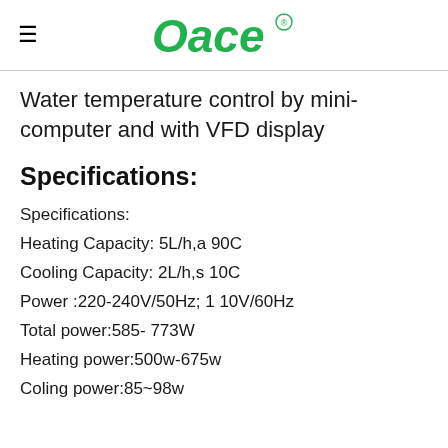Oace
Water temperature control by mini-computer and with VFD display
Specifications:
Specifications:
Heating Capacity: 5L/h,a 90C
Cooling Capacity: 2L/h,s 10C
Power :220-240V/50Hz; 1 10V/60Hz
Total power:585- 773W
Heating power:500w-675w
Coling power:85~98w